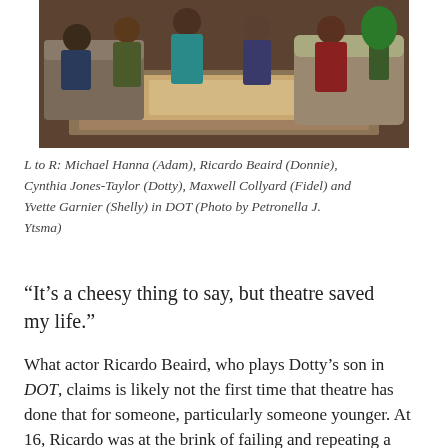[Figure (photo): Group photo of five actors seated in a living room stage set with a coffee table and wicker furniture]
L to R: Michael Hanna (Adam), Ricardo Beaird (Donnie), Cynthia Jones-Taylor (Dotty), Maxwell Collyard (Fidel) and Yvette Garnier (Shelly) in DOT (Photo by Petronella J. Ytsma)
“It’s a cheesy thing to say, but theatre saved my life.”
What actor Ricardo Beaird, who plays Dotty’s son in DOT, claims is likely not the first time that theatre has done that for someone, particularly someone younger. At 16, Ricardo was at the brink of failing and repeating a